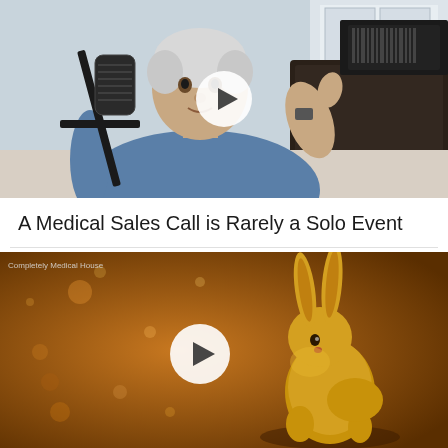[Figure (screenshot): Video thumbnail showing an older man with grey hair sitting in front of a professional microphone, wearing a blue shirt, giving a thumbs up. He is in a room with a dark sofa. A white play button circle overlay is centered on the image.]
A Medical Sales Call is Rarely a Solo Event
[Figure (screenshot): Video thumbnail with a warm golden/brown background with bokeh light particles. A golden-colored rabbit stands in profile on the right side. A white play button circle overlay is centered on the image. Small text in upper left reads 'Completely Medical House'.]